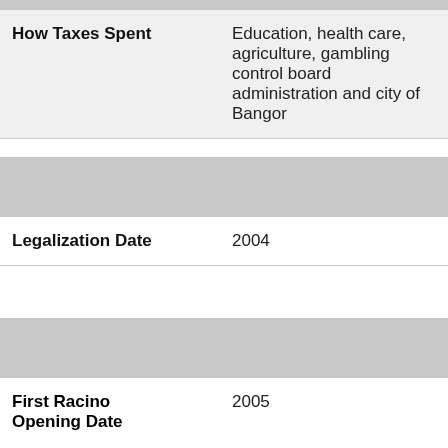| How Taxes Spent | Education, health care, agriculture, gambling control board administration and city of Bangor |
| Legalization Date | 2004 |
| First Racino Opening Date | 2005 |